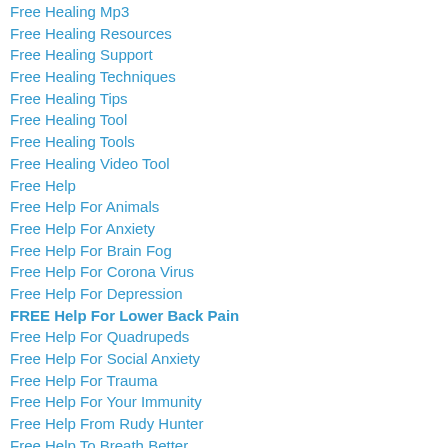Free Healing Mp3
Free Healing Resources
Free Healing Support
Free Healing Techniques
Free Healing Tips
Free Healing Tool
Free Healing Tools
Free Healing Video Tool
Free Help
Free Help For Animals
Free Help For Anxiety
Free Help For Brain Fog
Free Help For Corona Virus
Free Help For Depression
FREE Help For Lower Back Pain
Free Help For Quadrupeds
Free Help For Social Anxiety
Free Help For Trauma
Free Help For Your Immunity
Free Help From Rudy Hunter
Free Help To Breath Better